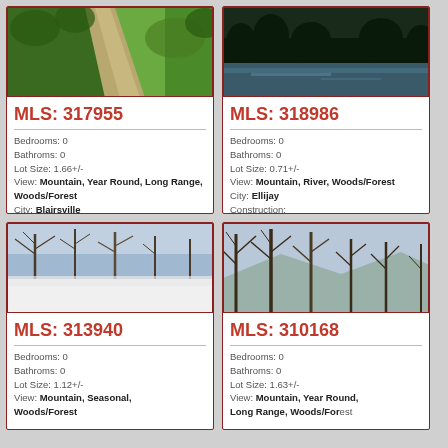[Figure (photo): Aerial view of green forest and road]
MLS: 317955
Bedrooms: 0
Bathroms: 0
Lot Size: 1.66+/-
View: Mountain, Year Round, Long Range, Woods/Forest
City: Blairsville
Construction:
$65,000
[Figure (photo): Dark river scene with trees and sky]
MLS: 318986
Bedrooms: 0
Bathroms: 0
Lot Size: 0.71+/-
View: Mountain, River, Woods/Forest
City: Ellijay
Construction:
$59,900
[Figure (photo): Bare winter trees against cloudy sky with white snow/fog area]
MLS: 313940
Bedrooms: 0
Bathroms: 0
Lot Size: 1.12+/-
View: Mountain, Seasonal, Woods/Forest
[Figure (photo): Bare trees with mountain view in background]
MLS: 310168
Bedrooms: 0
Bathroms: 0
Lot Size: 1.63+/-
View: Mountain, Year Round, Long Range, Woods/Forest